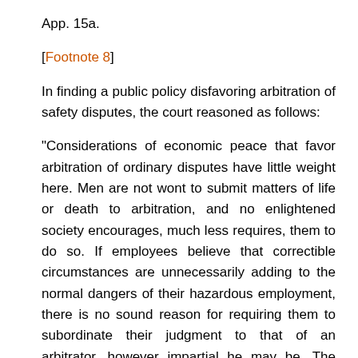App. 15a.
[Footnote 8]
In finding a public policy disfavoring arbitration of safety disputes, the court reasoned as follows:
"Considerations of economic peace that favor arbitration of ordinary disputes have little weight here. Men are not wont to submit matters of life or death to arbitration, and no enlightened society encourages, much less requires, them to do so. If employees believe that correctible circumstances are unnecessarily adding to the normal dangers of their hazardous employment, there is no sound reason for requiring them to subordinate their judgment to that of an arbitrator, however impartial he may be. The arbitrator is not staking his life on his impartial decision. It should not be the policy of the law to force the employees to stake theirs on his judgment."